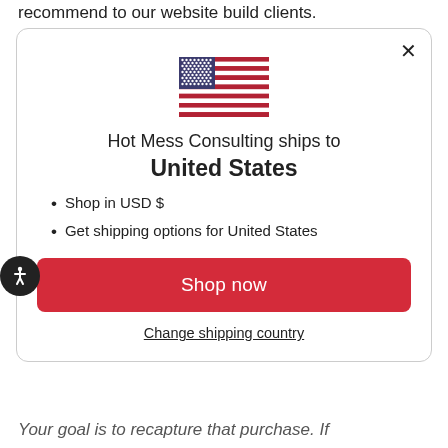recommend to our website build clients.
[Figure (screenshot): A modal dialog box with a US flag icon, text 'Hot Mess Consulting ships to United States', bullet points listing 'Shop in USD $' and 'Get shipping options for United States', a red 'Shop now' button, and a 'Change shipping country' link. A close (X) button is in the top right corner. An accessibility icon (person in circle) is on the left edge.]
Your goal is to recapture that purchase. If